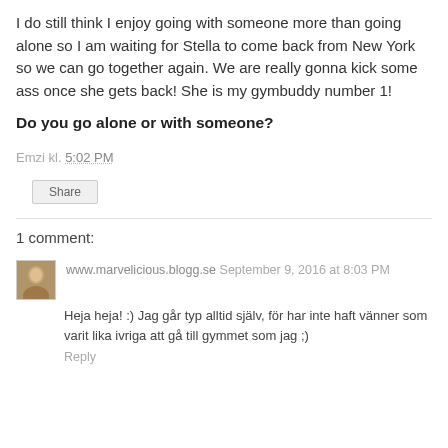I do still think I enjoy going with someone more than going alone so I am waiting for Stella to come back from New York so we can go together again. We are really gonna kick some ass once she gets back! She is my gymbuddy number 1!
Do you go alone or with someone?
Emzi kl. 5:02 PM
Share
1 comment:
www.marvelicious.blogg.se September 9, 2016 at 8:03 PM
Heja heja! :) Jag går typ alltid själv, för har inte haft vänner som varit lika ivriga att gå till gymmet som jag ;)
Reply